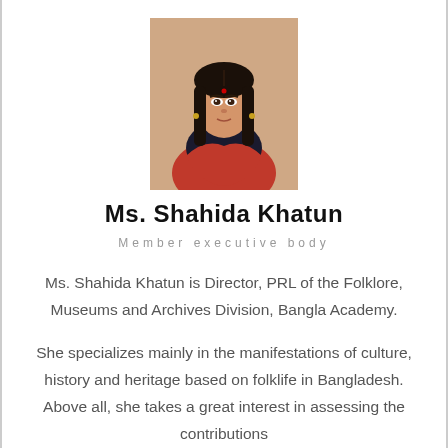[Figure (photo): Portrait photo of Ms. Shahida Khatun wearing a red saree and black blouse, with long dark hair, taken outdoors]
Ms. Shahida Khatun
Member executive body
Ms. Shahida Khatun is Director, PRL of the Folklore, Museums and Archives Division, Bangla Academy.
She specializes mainly in the manifestations of culture, history and heritage based on folklife in Bangladesh. Above all, she takes a great interest in assessing the contributions